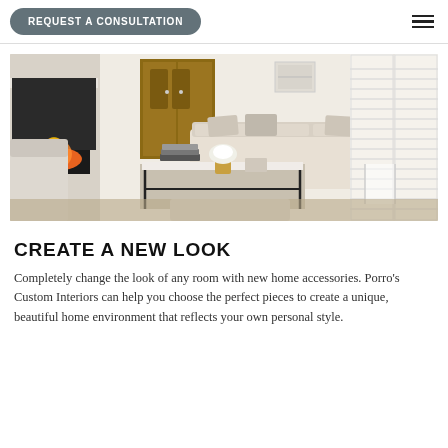REQUEST A CONSULTATION
[Figure (photo): Interior living room with white sofas, a black coffee table with books and flowers, a fireplace on the left, wooden armoire in center-back, and white shuttered windows on the right. Neutral beige/cream color palette.]
CREATE A NEW LOOK
Completely change the look of any room with new home accessories. Porro's Custom Interiors can help you choose the perfect pieces to create a unique, beautiful home environment that reflects your own personal style.